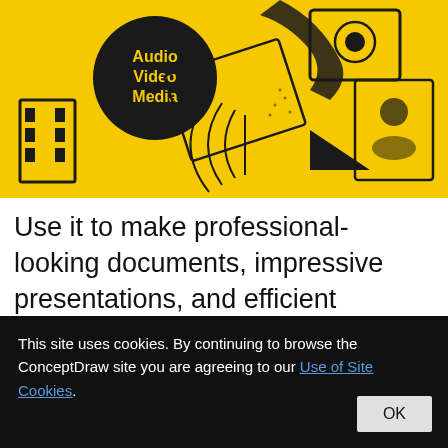[Figure (illustration): Yellow background graphic with black illustrated media icons (film strip, camera, sound waves, triangle, portrait photo placeholder) and a black circle badge with bold yellow text reading 'Audio Video Media']
Use it to make professional-looking documents, impressive presentations, and efficient websites with colorful and vivid illustrations and schematics of digital audio,
This site uses cookies. By continuing to browse the ConceptDraw site you are agreeing to our Use of Site Cookies.